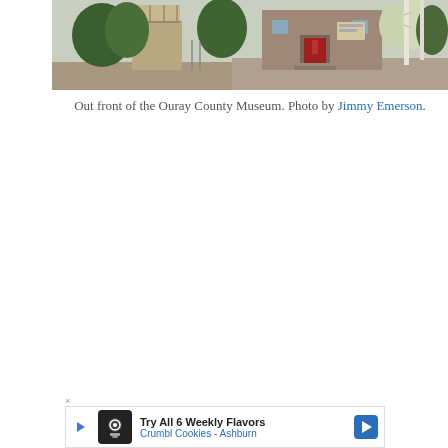[Figure (photo): Exterior photo of the Ouray County Museum building, showing trees, a red door, stone facade, and a gravel road in front.]
Out front of the Ouray County Museum. Photo by Jimmy Emerson.
[Figure (infographic): Advertisement banner: Try All 6 Weekly Flavors - Crumbl Cookies - Ashburn]